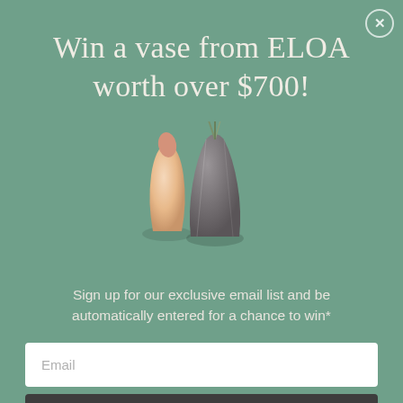[Figure (illustration): Close button (X) in a circle, top-right corner]
Win a vase from ELOA worth over $700!
[Figure (photo): Three decorative glass vases: one warm peach/cream teardrop shape, one tall dark frosted faceted vase with plant stems, arranged together on a teal/sage green background]
Sign up for our exclusive email list and be automatically entered for a chance to win*
Email
Enter the Giveaway
*Please read our terms and conditions here